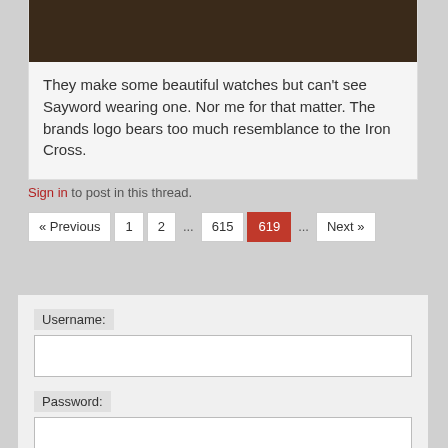[Figure (photo): Dark brown/wood-toned image at the top of a comment card]
They make some beautiful watches but can't see Sayword wearing one. Nor me for that matter. The brands logo bears too much resemblance to the Iron Cross.
Sign in to post in this thread.
« Previous  1  2  ...  615  619  ...  Next »
Username:
Password: